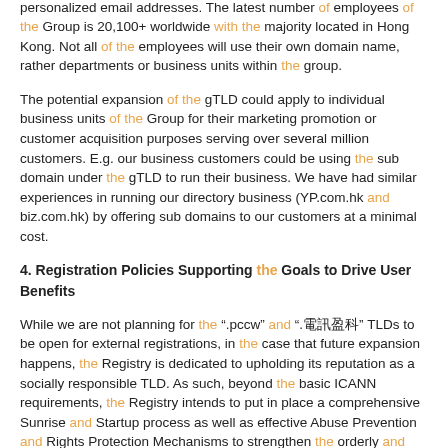and its subsidiaries. It might cover the websites and the personalized email addresses. The latest number of employees of the Group is 20,100+ worldwide with the majority located in Hong Kong. Not all of the employees will use their own domain name, rather departments or business units within the group.
The potential expansion of the gTLD could apply to individual business units of the Group for their marketing promotion or customer acquisition purposes serving over several million customers. E.g. our business customers could be using the sub domain under the gTLD to run their business. We have had similar experiences in running our directory business (YP.com.hk and biz.com.hk) by offering sub domains to our customers at a minimal cost.
4. Registration Policies Supporting the Goals to Drive User Benefits
While we are not planning for the ".pccw" and ".電訊盈科" TLDs to be open for external registrations, in the case that future expansion happens, the Registry is dedicated to upholding its reputation as a socially responsible TLD. As such, beyond the basic ICANN requirements, the Registry intends to put in place a comprehensive Sunrise and Startup process as well as effective Abuse Prevention and Rights Protection Mechanisms to strengthen the orderly and stable introduction of the TLD.